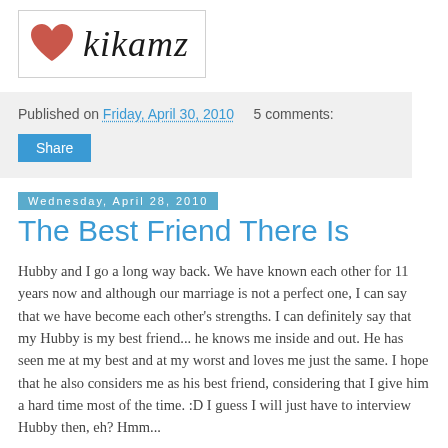[Figure (logo): Blog logo with red heart and handwritten-style text 'kikamz']
Published on Friday, April 30, 2010   5 comments:
Share
Wednesday, April 28, 2010
The Best Friend There Is
Hubby and I go a long way back. We have known each other for 11 years now and although our marriage is not a perfect one, I can say that we have become each other's strengths. I can definitely say that my Hubby is my best friend... he knows me inside and out. He has seen me at my best and at my worst and loves me just the same. I hope that he also considers me as his best friend, considering that I give him a hard time most of the time. :D I guess I will just have to interview Hubby then, eh? Hmm...